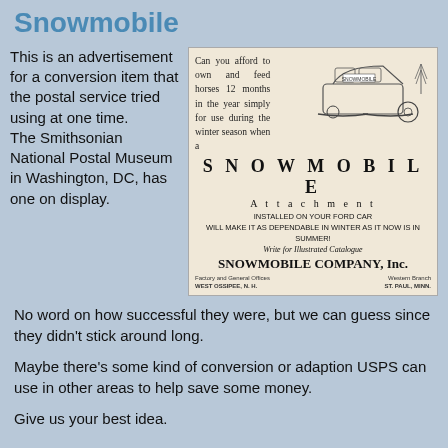Snowmobile
This is an advertisement for a conversion item that the postal service tried using at one time. The Smithsonian National Postal Museum in Washington, DC, has one on display.
[Figure (illustration): Vintage advertisement for the Snowmobile Attachment for Ford cars. Shows a horse-drawn carriage style vehicle fitted with ski runners. Text reads: 'Can you afford to own and feed horses 12 months in the year simply for use during the winter season when a SNOWMOBILE Attachment INSTALLED ON YOUR FORD CAR WILL MAKE IT AS DEPENDABLE IN WINTER AS IT NOW IS IN SUMMER! Write for Illustrated Catalogue SNOWMOBILE COMPANY, Inc. Factory and General Offices WEST OSSIPEE, N.H. Western Branch ST. PAUL, MINN.']
No word on how successful they were, but we can guess since they didn't stick around long.
Maybe there's some kind of conversion or adaption USPS can use in other areas to help save some money.
Give us your best idea.